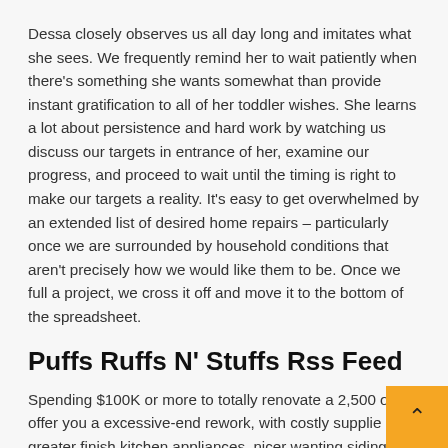Dessa closely observes us all day long and imitates what she sees. We frequently remind her to wait patiently when there's something she wants somewhat than provide instant gratification to all of her toddler wishes. She learns a lot about persistence and hard work by watching us discuss our targets in entrance of her, examine our progress, and proceed to wait until the timing is right to make our targets a reality. It's easy to get overwhelmed by an extended list of desired home repairs – particularly once we are surrounded by household conditions that aren't precisely how we would like them to be. Once we full a project, we cross it off and move it to the bottom of the spreadsheet.
Puffs Ruffs N' Stuffs Rss Feed
Spending $100K or more to totally renovate a 2,500 offer you a excessive-end rework, with costly supplie greater finish kitchen appliances, nicer wanting siding, extra in depth landscaping, new deck or patio. Spending